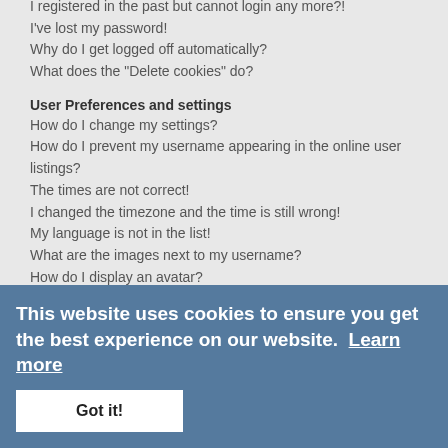I registered in the past but cannot login any more?!
I've lost my password!
Why do I get logged off automatically?
What does the "Delete cookies" do?
User Preferences and settings
How do I change my settings?
How do I prevent my username appearing in the online user listings?
The times are not correct!
I changed the timezone and the time is still wrong!
My language is not in the list!
What are the images next to my username?
How do I display an avatar?
What is my rank and how do I change it?
When I click the email link for a user it asks me to login?
Posting Issues
How do I create a new topic or post a reply?
How do I edit or delete a post?
How do I create a poll?
Why can't I add more poll options?
How do I edit or delete a poll?
Why can't I access a forum?
Why can't I add attachments?
Why did I receive a warning?
This website uses cookies to ensure you get the best experience on our website. Learn more
Got it!